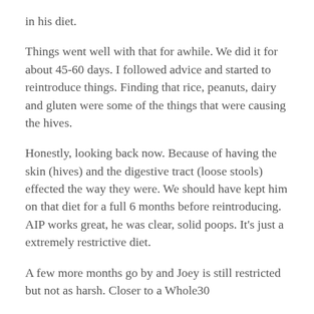in his diet.
Things went well with that for awhile. We did it for about 45-60 days. I followed advice and started to reintroduce things. Finding that rice, peanuts, dairy and gluten were some of the things that were causing the hives.
Honestly, looking back now. Because of having the skin (hives) and the digestive tract (loose stools) effected the way they were. We should have kept him on that diet for a full 6 months before reintroducing. AIP works great, he was clear, solid poops. It's just a extremely restrictive diet.
A few more months go by and Joey is still restricted but not as harsh. Closer to a Whole30